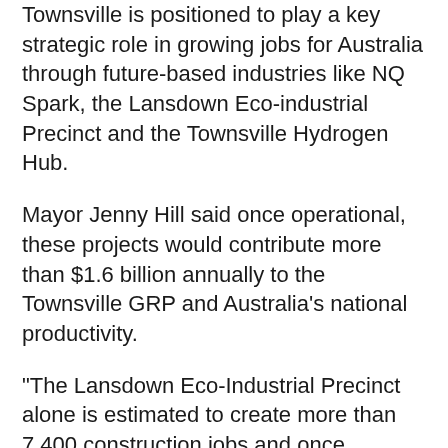Townsville is positioned to play a key strategic role in growing jobs for Australia through future-based industries like NQ Spark, the Lansdown Eco-industrial Precinct and the Townsville Hydrogen Hub.
Mayor Jenny Hill said once operational, these projects would contribute more than $1.6 billion annually to the Townsville GRP and Australia’s national productivity.
“The Lansdown Eco-Industrial Precinct alone is estimated to create more than 7,400 construction jobs and once operational will contribute more than 6,600 ongoing jobs to the region,” Cr Hill said.
“With the commitment from the Australian